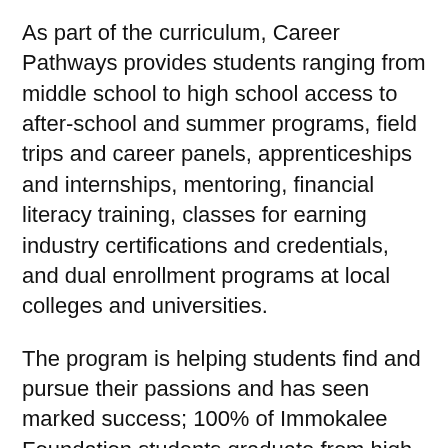As part of the curriculum, Career Pathways provides students ranging from middle school to high school access to after-school and summer programs, field trips and career panels, apprenticeships and internships, mentoring, financial literacy training, classes for earning industry certifications and credentials, and dual enrollment programs at local colleges and universities.
The program is helping students find and pursue their passions and has seen marked success; 100% of Immokalee Foundation students graduate from high school, 100% have a postsecondary plan for a professional career, and 92% go on to graduate with an advanced postsecondary certificate or degree.
For more information on The Immokalee Foundation's